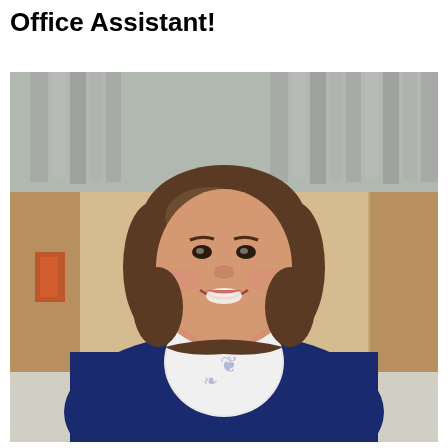Office Assistant!
[Figure (photo): Portrait photo of a smiling woman with short brown hair, wearing a navy blue cardigan over a white and blue floral patterned blouse. She is seated in what appears to be a church interior with organ pipes visible in the background.]